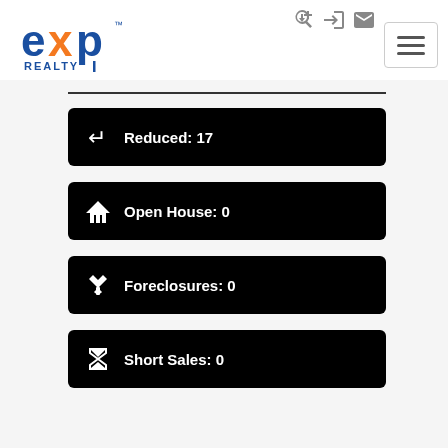[Figure (logo): eXp Realty logo — blue 'exp' text with orange 'x', blue 'REALTY' text below]
Reduced: 17
Open House: 0
Foreclosures: 0
Short Sales: 0